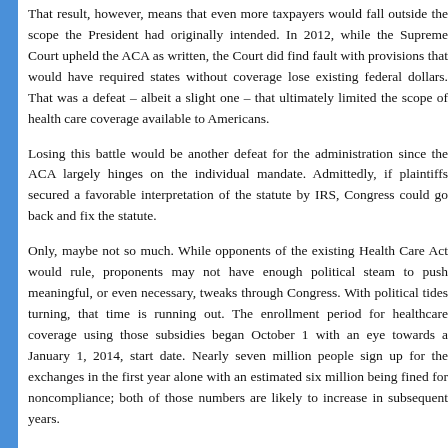That result, however, means that even more taxpayers would fall outside the scope the President had originally intended. In 2012, while the Supreme Court upheld the ACA as written, the Court did find fault with provisions that would have required states without coverage lose existing federal dollars. That was a defeat – albeit a slight one – that ultimately limited the scope of health care coverage available to Americans.
Losing this battle would be another defeat for the administration since the ACA largely hinges on the individual mandate. Admittedly, if plaintiffs secure a favorable interpretation of the statute by IRS, Congress could go back and fix the statute.
Only, maybe not so much. While opponents of the existing Health Care Act would rule, proponents may not have enough political steam to push meaningful, or even necessary, tweaks through Congress. With political tides turning, that time is running out. The enrollment period for healthcare coverage using those subsidies began October 1 with an eye towards a January 1, 2014, start date. Nearly seven million people sign up for the exchanges in the first year alone with an estimated six million being fined for noncompliance; both of those numbers are likely to increase in subsequent years.
Tags: Affordable Care Act, Chicago, Chicagoland, Fox Valley, Health Care Mandate, IRS, medicaid coverage, North West Suburbs, Northern Illinois, Patient Protection, Richmond, Ringwood, River Grove, Riverwoods